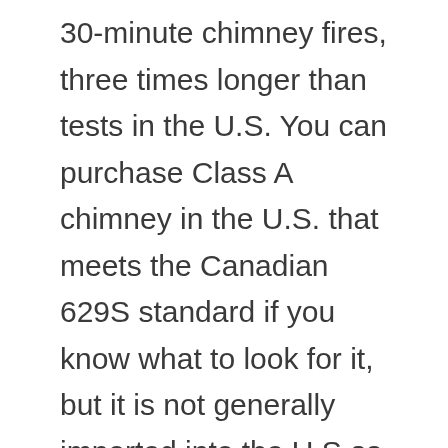30-minute chimney fires, three times longer than tests in the U.S. You can purchase Class A chimney in the U.S. that meets the Canadian 629S standard if you know what to look for it, but it is not generally imported into the U.S as distributors here do not stock Canadian chimneys for the U.S. market. Excel Chimney, Ventis Chimney, Dura Vent, Security Chimney, and Selkirk are a few manufactures who build chimneys in Canada. Some offer Class A chimneys that carry both a ULC and a UL Listing, for example Excel, Ventis, Dura Tech...